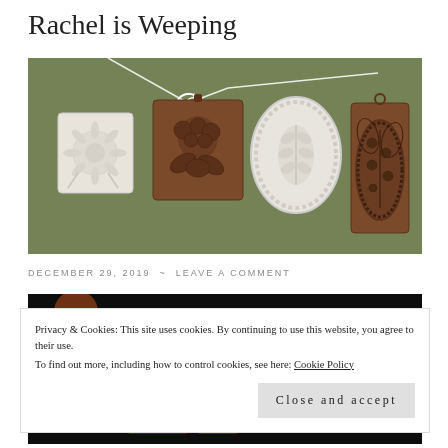Rachel is Weeping
[Figure (photo): Four decorative botanical molds/ornaments on green cloth background: a white plaster daisy square, a brown carved wooden floral bouquet square, a white plaster oval with leaves, and a brown carved oval with lily of the valley pattern. A white ribbon/string connects some of them.]
DECEMBER 29, 2019 ~ LEAVE A COMMENT
[Figure (photo): Partial view of a dark/black background photo, partially obscured by cookie consent banner. Orange circle visible at top left.]
Privacy & Cookies: This site uses cookies. By continuing to use this website, you agree to their use.
To find out more, including how to control cookies, see here: Cookie Policy
Close and accept